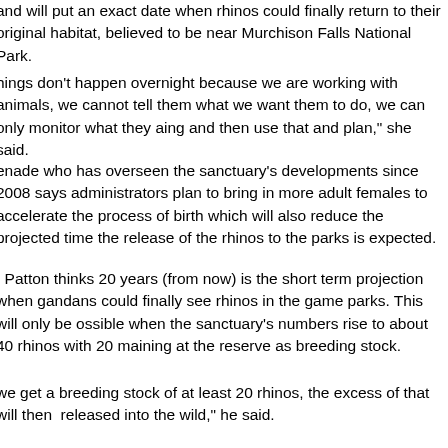and will put an exact date when rhinos could finally return to their original habitat, believed to be near Murchison Falls National Park.
Things don't happen overnight because we are working with animals, we cannot tell them what we want them to do, we can only monitor what they are doing and then use that and plan," she said.
Grenade who has overseen the sanctuary's developments since 2008 says administrators plan to bring in more adult females to accelerate the process of birth which will also reduce the projected time the release of the rhinos to the parks is expected.
L. Patton thinks 20 years (from now) is the short term projection when Ugandans could finally see rhinos in the game parks. This will only be possible when the sanctuary's numbers rise to about 40 rhinos with 20 remaining at the reserve as breeding stock.
If we get a breeding stock of at least 20 rhinos, the excess of that will then be released into the wild," he said.
Meanwhile the executive director hopes South Africa will honour their promise made three years ago of donating the female white rhinos.